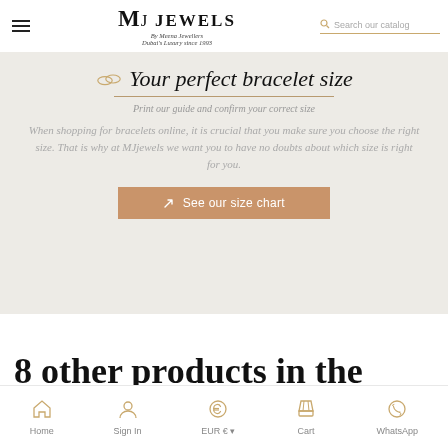MJ Jewels — By Meena Jewellers — Dubai's Luxury since 1993 | Search our catalog
[Figure (screenshot): Bracelet size guide banner with illustration of bracelets, title 'Your perfect bracelet size', subtitle 'Print our guide and confirm your correct size', body text about choosing the right bracelet size online, and a 'See our size chart' button.]
8 other products in the
Home | Sign In | EUR € | Cart | WhatsApp